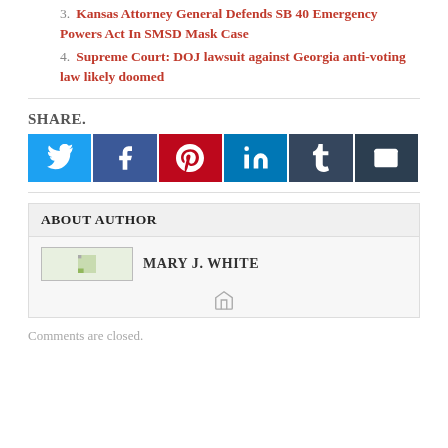3. Kansas Attorney General Defends SB 40 Emergency Powers Act In SMSD Mask Case
4. Supreme Court: DOJ lawsuit against Georgia anti-voting law likely doomed
SHARE.
[Figure (infographic): Row of social media share buttons: Twitter (blue), Facebook (dark blue), Pinterest (red), LinkedIn (teal), Tumblr (dark slate), Email (dark navy)]
ABOUT AUTHOR
[Figure (photo): Author photo placeholder image for Mary J. White]
MARY J. WHITE
Comments are closed.